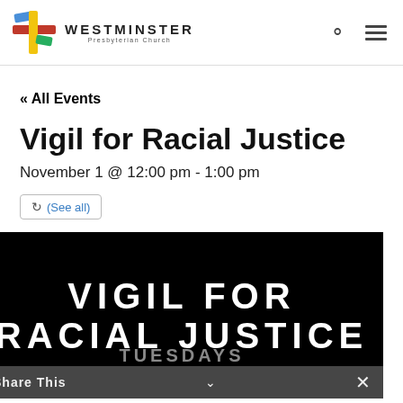Westminster Presbyterian Church
« All Events
Vigil for Racial Justice
November 1 @ 12:00 pm - 1:00 pm
(See all)
[Figure (photo): Dark banner image with bold white text reading VIGIL FOR RACIAL JUSTICE, with TUESDAYS partially visible below]
Share This